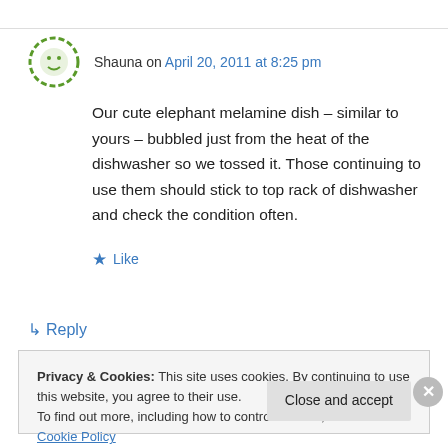Shauna on April 20, 2011 at 8:25 pm
Our cute elephant melamine dish – similar to yours – bubbled just from the heat of the dishwasher so we tossed it. Those continuing to use them should stick to top rack of dishwasher and check the condition often.
★ Like
↳ Reply
Privacy & Cookies: This site uses cookies. By continuing to use this website, you agree to their use. To find out more, including how to control cookies, see here: Cookie Policy
Close and accept